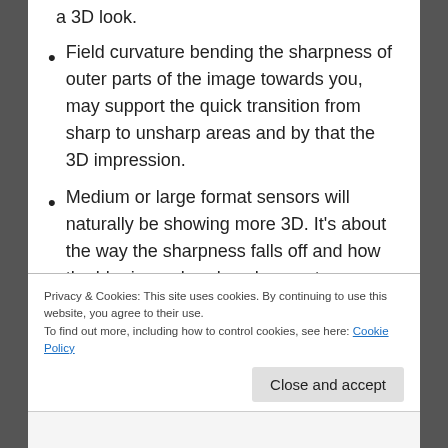a 3D look.
Field curvature bending the sharpness of outer parts of the image towards you, may support the quick transition from sharp to unsharp areas and by that the 3D impression.
Medium or large format sensors will naturally be showing more 3D. It's about the way the sharpness falls off and how the blur is rendered unsharp yet recognizable. Also sharp areas will have more sublte detail to them, more tones.
Privacy & Cookies: This site uses cookies. By continuing to use this website, you agree to their use.
To find out more, including how to control cookies, see here: Cookie Policy
Close and accept